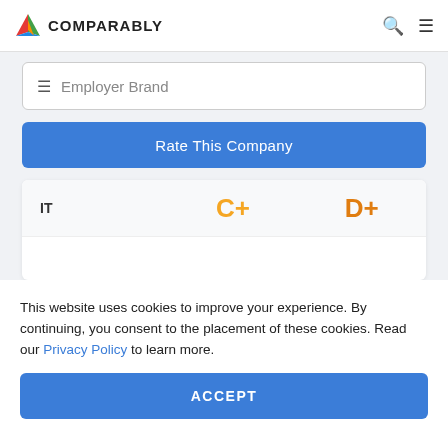COMPARABLY
≡ Employer Brand
Rate This Company
| Department | Grade1 | Grade2 |
| --- | --- | --- |
| IT | C+ | D+ |
BioTrackTHC Employee Perception
This website uses cookies to improve your experience. By continuing, you consent to the placement of these cookies. Read our Privacy Policy to learn more.
ACCEPT